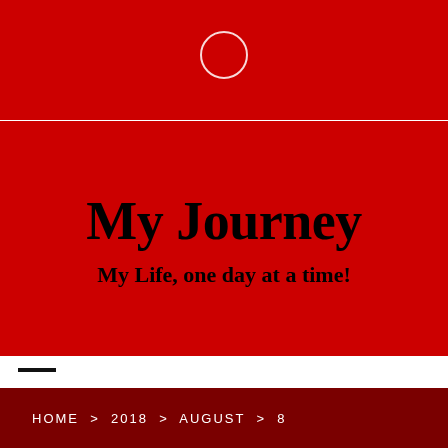[Figure (illustration): Red header bar with a white circle outline centered at the top]
My Journey
My Life, one day at a time!
HOME > 2018 > AUGUST > 8